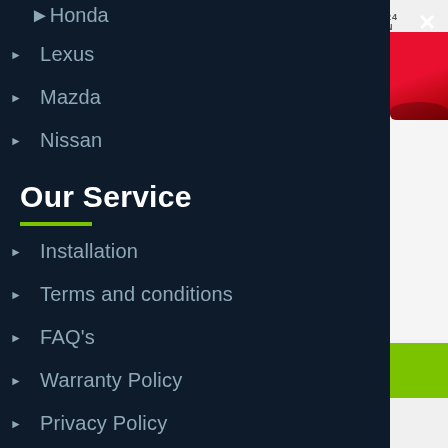Honda
Lexus
Mazda
Nissan
Our Service
Installation
Terms and conditions
FAQ's
Warranty Policy
Privacy Policy
14A. Westech Place. Kelston. Auckland 0602.
[Figure (screenshot): Side panel with close button (X), partial car image thumbnail (red), and green button at bottom]